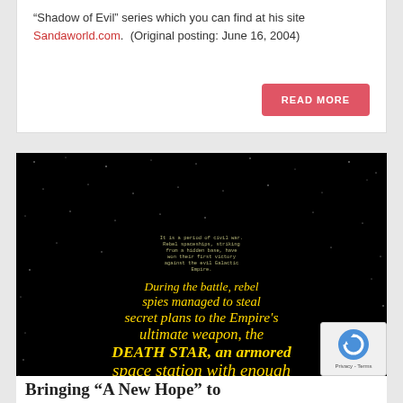“Shadow of Evil” series which you can find at his site Sandaworld.com.  (Original posting: June 16, 2004)
READ MORE
[Figure (photo): Star Wars opening crawl on black starfield background showing yellow italic text: 'During the battle, rebel spies managed to steal secret plans to the Empire’s ultimate weapon, the DEATH STAR, an armored space station with enough power to destroy an entire planet.']
Bringing “A New Hope” to